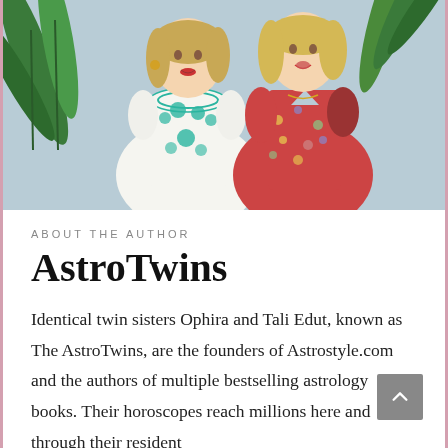[Figure (photo): Two smiling blonde women standing together. Left woman wears a white dress with teal/green embroidery. Right woman wears a red floral patterned dress. Background shows green tropical plants and a blue-gray wall.]
ABOUT THE AUTHOR
AstroTwins
Identical twin sisters Ophira and Tali Edut, known as The AstroTwins, are the founders of Astrostyle.com and the authors of multiple bestselling astrology books. Their horoscopes reach millions here and through their resident